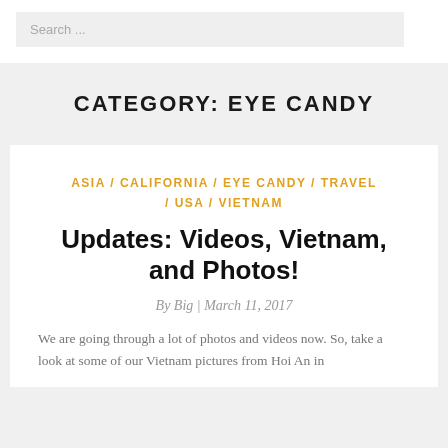Search ...
CATEGORY: EYE CANDY
ASIA / CALIFORNIA / EYE CANDY / TRAVEL / USA / VIETNAM
Updates: Videos, Vietnam, and Photos!
By Big | March 11, 2017
We are going through a lot of photos and videos now. So, take a look at some of our Vietnam pictures from Hoi An in